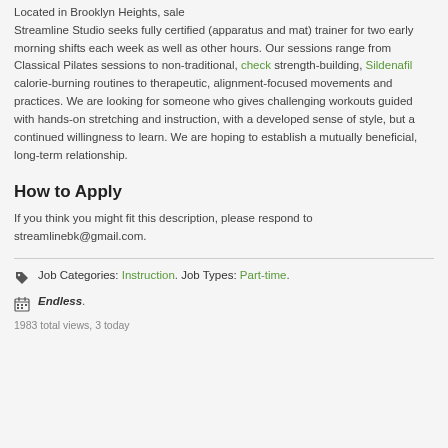Located in Brooklyn Heights, sale Streamline Studio seeks fully certified (apparatus and mat) trainer for two early morning shifts each week as well as other hours. Our sessions range from Classical Pilates sessions to non-traditional, check strength-building, Sildenafil calorie-burning routines to therapeutic, alignment-focused movements and practices. We are looking for someone who gives challenging workouts guided with hands-on stretching and instruction, with a developed sense of style, but a continued willingness to learn. We are hoping to establish a mutually beneficial, long-term relationship.
How to Apply
If you think you might fit this description, please respond to streamlinebk@gmail.com.
Job Categories: Instruction. Job Types: Part-time.
Endless.
1983 total views, 3 today